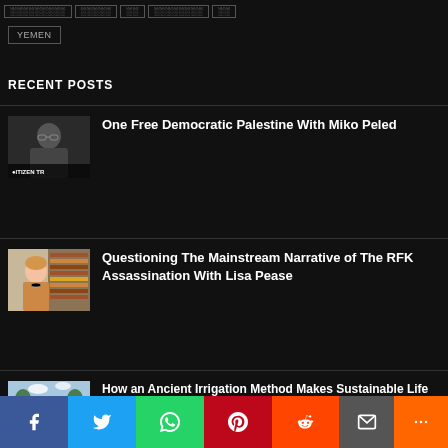YEMEN
RECENT POSTS
[Figure (photo): Thumbnail photo of man with glasses and dark clothing, with 'CITIZEN TR' text overlay at bottom left]
One Free Democratic Palestine With Miko Peled
[Figure (photo): Thumbnail photo of woman with bookshelves in background]
Questioning The Mainstream Narrative of The RFK Assassination With Lisa Pease
[Figure (photo): Thumbnail photo of garden or estate with trees and pathway]
How an Ancient Irrigation Method Makes Sustainable Life Possible in the U.S. Southwest
Social sharing bar: Facebook, Twitter, WhatsApp, Pinterest, Reddit, Email, More